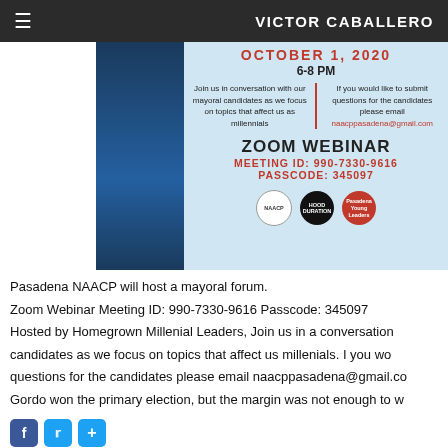VICTOR CABALLERO
[Figure (infographic): Event flyer for Pasadena NAACP mayoral forum. Shows date OCTOBER 1, 2020, time 6-8 PM, two-column text about joining in conversation with mayoral candidates focusing on millennial topics and email naacppasadena@gmail.com for questions. Zoom Webinar info: MEETING ID: 990-7330-9616, PASSCODE: 345097. Three organization logos at bottom (NAACP, Hood Duration, Pasadena Young Leaders).]
Pasadena NAACP will host a mayoral forum.
Zoom Webinar Meeting ID: 990-7330-9616 Passcode: 345097
Hosted by Homegrown Millenial Leaders, Join us in a conversation with our mayoral candidates as we focus on topics that affect us millenials.  I you would like to submit questions for the candidates please email naacppasadena@gmail.co
Gordo won the primary election, but the margin was not enough to w